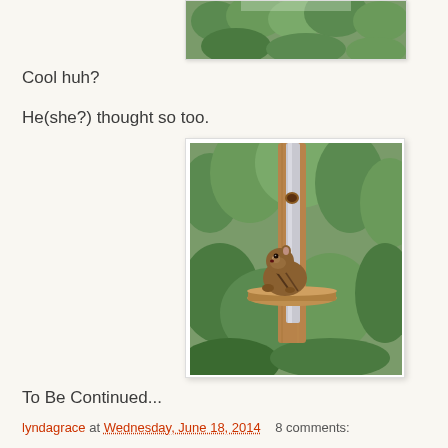[Figure (photo): Partial view of a photo showing green trees/foliage, cropped at top of page]
Cool huh?
He(she?) thought so too.
[Figure (photo): A chipmunk sitting on a wooden bird feeder with a metal tube, green foliage background]
To Be Continued...
lyndagrace at Wednesday, June 18, 2014   8 comments: